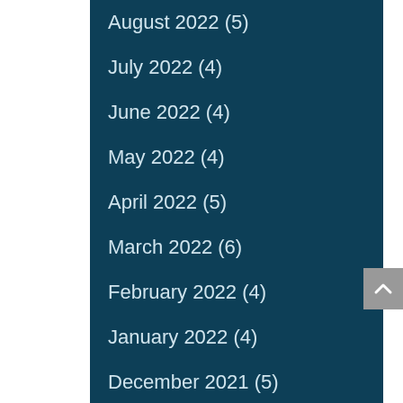August 2022 (5)
July 2022 (4)
June 2022 (4)
May 2022 (4)
April 2022 (5)
March 2022 (6)
February 2022 (4)
January 2022 (4)
December 2021 (5)
November 2021 (3)
October 2021 (3)
September 2021 (5)
August 2021 (4)